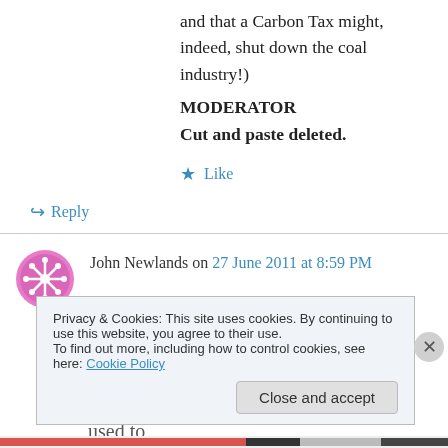and that a Carbon Tax might, indeed, shut down the coal industry!)
MODERATOR
Cut and paste deleted.
★ Like
↪ Reply
John Newlands on 27 June 2011 at 8:59 PM
If the Canucks want to be first to have holes in the ground where large mineral deposits used to
Privacy & Cookies: This site uses cookies. By continuing to use this website, you agree to their use.
To find out more, including how to control cookies, see here: Cookie Policy
Close and accept